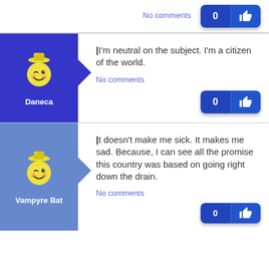No comments
[Figure (infographic): Like button with count 0 and thumbs up icon]
[Figure (illustration): Daneca avatar - winking smiley face with cap, blue background]
I'm neutral on the subject. I'm a citizen of the world.
No comments
[Figure (infographic): Like button with count 0 and thumbs up icon]
[Figure (illustration): Vampyre Bat avatar - winking smiley face with cap, light blue background]
It doesn't make me sick. It makes me sad. Because, I can see all the promise this country was based on going right down the drain.
No comments
[Figure (infographic): Like button with count 0 and thumbs up icon]